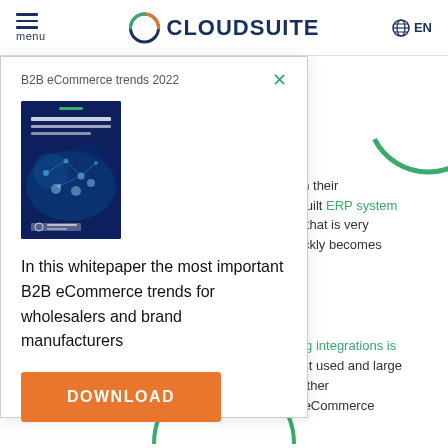menu | CLOUDSUITE | EN
B2B eCommerce trends 2022
[Figure (illustration): Book cover of B2B eCommerce trends 2022 whitepaper with dark blue background and networking imagery]
In this whitepaper the most important B2B eCommerce trends for wholesalers and brand manufacturers
DOWNLOAD
ons
ations with their re a self-built ERP system e product that is very ses, it quickly becomes
m, creating integrations is th the most used and large ntegrate other with your eCommerce